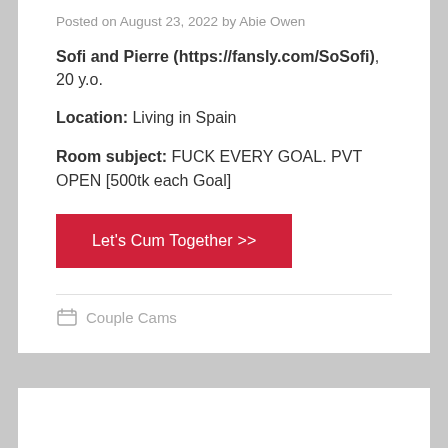Posted on August 23, 2022 by Abie Owen
Sofi and Pierre (https://fansly.com/SoSofi), 20 y.o.
Location: Living in Spain
Room subject: FUCK EVERY GOAL. PVT OPEN [500tk each Goal]
Let's Cum Together >>
Couple Cams